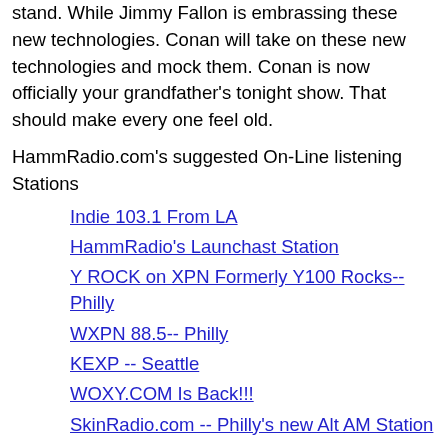stand. While Jimmy Fallon is embrassing these new technologies. Conan will take on these new technologies and mock them. Conan is now officially your grandfather's tonight show. That should make every one feel old.
HammRadio.com's suggested On-Line listening Stations
Indie 103.1 From LA
HammRadio's Launchast Station
Y ROCK on XPN Formerly Y100 Rocks-- Philly
WXPN 88.5-- Philly
KEXP -- Seattle
WOXY.COM Is Back!!!
SkinRadio.com -- Philly's new Alt AM Station
Pows of the Day:
*** POW OF THE DAY ***